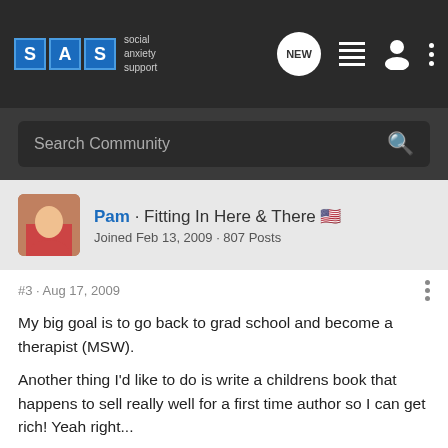SAS social anxiety support
Search Community
Pam · Fitting In Here & There 🇺🇸
Joined Feb 13, 2009 · 807 Posts
#3 · Aug 17, 2009
My big goal is to go back to grad school and become a therapist (MSW).
Another thing I'd like to do is write a childrens book that happens to sell really well for a first time author so I can get rich! Yeah right...
I also think about being a real estate agent.
I am downloading your BUFFALO CHICKEN TACOS video right